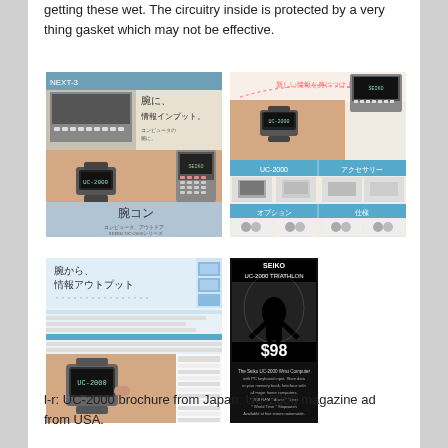getting these wet. The circuitry inside is protected by a very thing gasket which may not be effective.
[Figure (photo): UC-2000 brochure from Japan showing wrist computer with Japanese text and keyboard accessories]
[Figure (photo): UC-2000 magazine advertisement showing wrist worn device with product catalog pages]
[Figure (photo): UC-2000 Japanese brochure showing wrist device with output accessories and connectivity diagrams]
[Figure (photo): SEIKO UC-2000 magazine ad from USA in black and white]
l-r: UC-2000 brochure from Japan; UC-2000 magazine ad from USA.